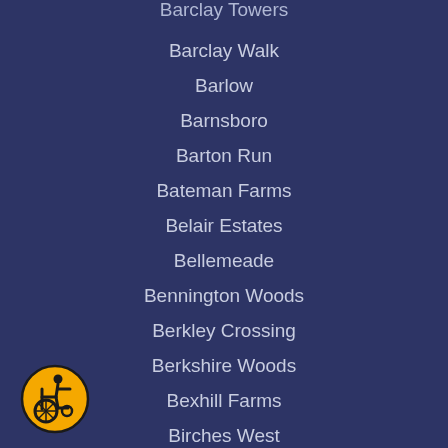Barclay Towers
Barclay Walk
Barlow
Barnsboro
Barton Run
Bateman Farms
Belair Estates
Bellemeade
Bennington Woods
Berkley Crossing
Berkshire Woods
Bexhill Farms
Birches West
Birchwood Lakes
Blackwood Homes For Sale
Blackwood Terrace
Blackwood Terrace
[Figure (illustration): Accessibility icon — yellow circle with black wheelchair user symbol]